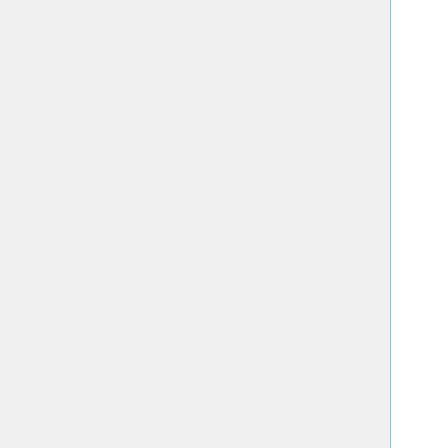conscience.Suicidum 1.0a,http://robocode-archive.strangeautomata.com/rob conscience.Suicidal 1.1,http://robocode-archive.strangeautomata.com/rob cre.Karolos 0.32,http://robocode-archive.strangeautomata.com/rob cs.Mint 0.16,https://github.com/Chase-san/AI-MintClover/releases/download/v0 cs.Nene 1.0.5,http://robocode-archive.strangeautomata.com/rob cs.PumpkinPie 1.0,http://robocode-archive.strangeautomata.com/rob cs.s2.Seraphim 2.3.1,http://robocode-archive.strangeautomata.com/rob cs.Wren 1.0,http://robocode-archive.strangeautomata.com/rob